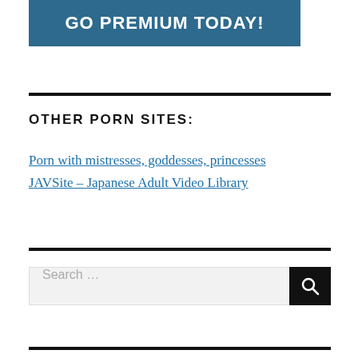[Figure (screenshot): Banner advertisement with dark teal/blue background reading 'GO PREMIUM TODAY!' in large white bold uppercase text]
OTHER PORN SITES:
Porn with mistresses, goddesses, princesses
JAVSite – Japanese Adult Video Library
Search ...